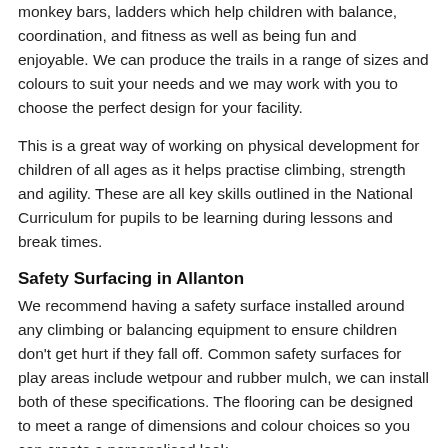monkey bars, ladders which help children with balance, coordination, and fitness as well as being fun and enjoyable. We can produce the trails in a range of sizes and colours to suit your needs and we may work with you to choose the perfect design for your facility.
This is a great way of working on physical development for children of all ages as it helps practise climbing, strength and agility. These are all key skills outlined in the National Curriculum for pupils to be learning during lessons and break times.
Safety Surfacing in Allanton
We recommend having a safety surface installed around any climbing or balancing equipment to ensure children don't get hurt if they fall off. Common safety surfaces for play areas include wetpour and rubber mulch, we can install both of these specifications. The flooring can be designed to meet a range of dimensions and colour choices so you can create a personalised look.
The costs of installing an activity trail will vary depending on the type and amount of equipment you want so feel free to contact us